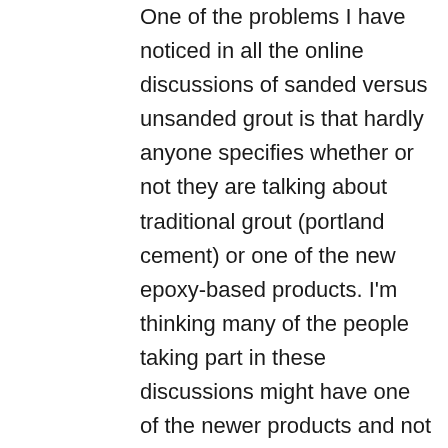One of the problems I have noticed in all the online discussions of sanded versus unsanded grout is that hardly anyone specifies whether or not they are talking about traditional grout (portland cement) or one of the new epoxy-based products. I'm thinking many of the people taking part in these discussions might have one of the newer products and not realize it, although I don't think that is true in Baselle's case.
Reply